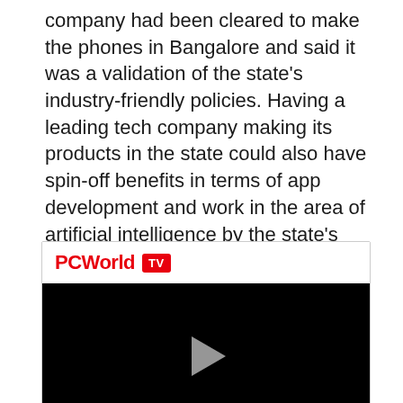company had been cleared to make the phones in Bangalore and said it was a validation of the state's industry-friendly policies. Having a leading tech company making its products in the state could also have spin-off benefits in terms of app development and work in the area of artificial intelligence by the state's highly-skilled manpower, he added.
[Figure (screenshot): PCWorld TV video player widget showing a black video screen with a play button triangle in the center. The header shows 'PCWorld' in red bold text and a red 'TV' badge.]